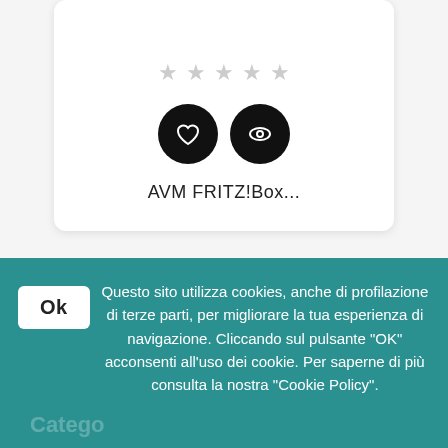[Figure (illustration): Product card showing 4 grey stars, two black circle icon buttons (heart/wishlist and eye/view), and product name 'AVM FRITZ!Box...']
AVM FRITZ!Box...
Visualizzazione di 1-12 di 65 articolo/i
Questo sito utilizza cookies, anche di profilazione di terze parti, per migliorare la tua esperienza di navigazione. Cliccando sul pulsante "OK" acconsenti all'uso dei cookie. Per saperne di più consulta la nostra "Cookie Policy".